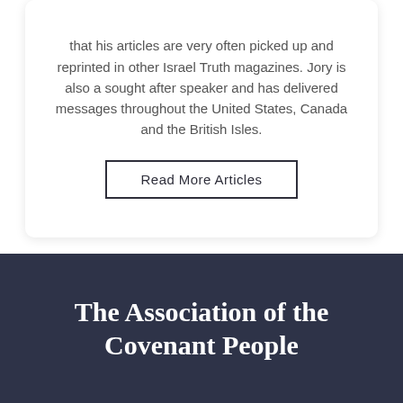that his articles are very often picked up and reprinted in other Israel Truth magazines. Jory is also a sought after speaker and has delivered messages throughout the United States, Canada and the British Isles.
Read More Articles
The Association of the Covenant People